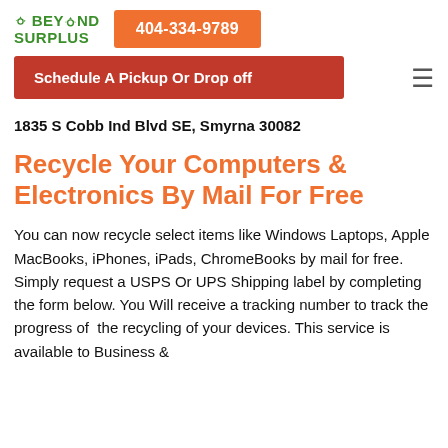BEYOND SURPLUS | 404-334-9789
Schedule A Pickup Or Drop off
1835 S Cobb Ind Blvd SE, Smyrna 30082
Recycle Your Computers & Electronics By Mail For Free
You can now recycle select items like Windows Laptops, Apple MacBooks, iPhones, iPads, ChromeBooks by mail for free. Simply request a USPS Or UPS Shipping label by completing the form below. You Will receive a tracking number to track the progress of the recycling of your devices. This service is available to Business &